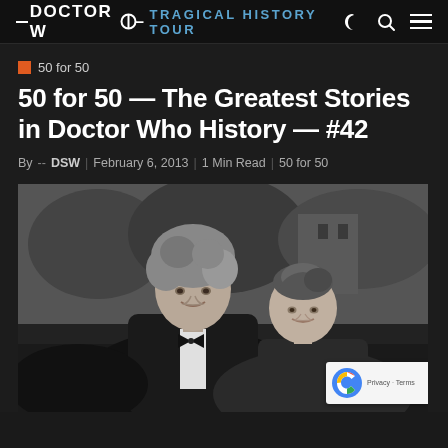DOCTOR WHO TRAGICAL HISTORY TOUR
50 for 50
50 for 50 — The Greatest Stories in Doctor Who History — #42
By -- DSW | February 6, 2013 | 1 Min Read | 50 for 50
[Figure (photo): Black and white photograph of two people — a man with curly hair wearing a bow tie and cape, and a woman with her hair up, both smiling. Appears to be from a Doctor Who production.]